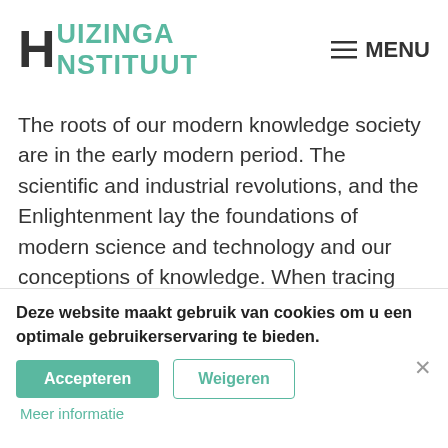HUIZINGA INSTITUUT | MENU
The roots of our modern knowledge society are in the early modern period. The scientific and industrial revolutions, and the Enlightenment lay the foundations of modern science and technology and our conceptions of knowledge. When tracing these developments to their roots, one enters fascinating worlds of ingenious inquirers and often peculiar ideas.  Huizinga Institute's staff member Fokko Jan Dijksterhuis will give his inaugural lecture on the acceptance of his office as extraordinary professor of Early Modern History of Ideas, in particular History of Knowledge.
In early eighteenth century Amsterdam the...
Deze website maakt gebruik van cookies om u een optimale gebruikerservaring te bieden.
Accepteren
Weigeren
Meer informatie